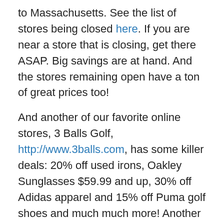to Massachusetts. See the list of stores being closed here. If you are near a store that is closing, get there ASAP. Big savings are at hand. And the stores remaining open have a ton of great prices too!
And another of our favorite online stores, 3 Balls Golf, http://www.3balls.com, has some killer deals: 20% off used irons, Oakley Sunglasses $59.99 and up, 30% off Adidas apparel and 15% off Puma golf shoes and much much more! Another trusted vendor!
Additional stores to check out are Golf Galaxy, Edwin Watts Golf, Dick's Sporting Goods and Academy Outdoors.
The point is Mom and Dad your active junior golfer is always in need of balls, gloves, tees, clubs, clothing and